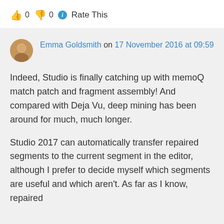👍 0 👎 0 ℹ Rate This
Emma Goldsmith on 17 November 2016 at 09:59
Indeed, Studio is finally catching up with memoQ match patch and fragment assembly! And compared with Deja Vu, deep mining has been around for much, much longer.
Studio 2017 can automatically transfer repaired segments to the current segment in the editor, although I prefer to decide myself which segments are useful and which aren't. As far as I know, repaired